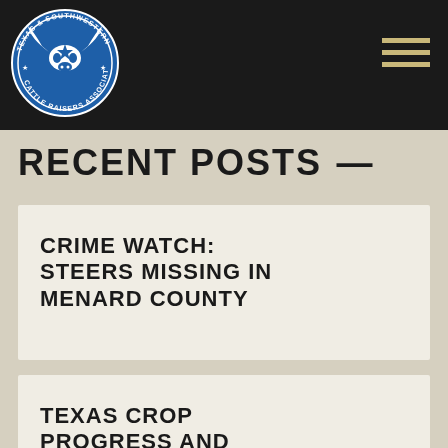[Figure (logo): Texas and Southwestern Cattle Raisers Association circular blue logo with longhorn skull]
RECENT POSTS
CRIME WATCH: STEERS MISSING IN MENARD COUNTY
TEXAS CROP PROGRESS AND CONDITION FOR...